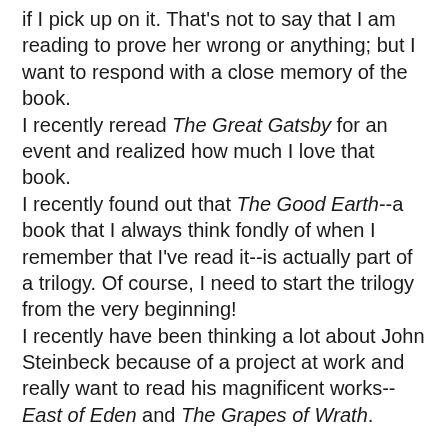if I pick up on it.  That's not to say that I am reading to prove her wrong or anything; but I want to respond with a close memory of the book.
I recently reread The Great Gatsby for an event and realized how much I love that book.
I recently found out that The Good Earth--a book that I always think fondly of when I remember that I've read it--is actually part of a trilogy.  Of course, I need to start the trilogy from the very beginning!
I recently have been thinking a lot about John Steinbeck because of a project at work and really want to read his magnificent works--East of Eden and The Grapes of Wrath.

It seems that I am surrounded by the impulse to reread books from my past the summer that I'm 25 (rather, the first summer that I'm 25, because I plan on "being" 25 for a few years).  Ooh, and now I'm thinking that maybe age has something to do with it...Ugh.  I'm too young to be that nostalgic.

Anyway!  I know that within the book community there is a pretty good sized debate about rereading books.  Some